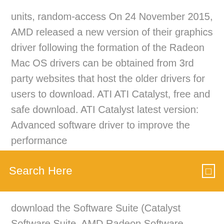units, random-access On 24 November 2015, AMD released a new version of their graphics driver following the formation of the Radeon Mac OS drivers can be obtained from 3rd party websites that host the older drivers for users to download. ATI ATI Catalyst, free and safe download. ATI Catalyst latest version: Advanced software driver to improve the performance
[Figure (other): Orange/amber search bar with 'Search Here' text in white on the left and a small square icon on the right]
download the Software Suite (Catalyst Software Suite, AMD Radeon Software,

28 Oct 2012 Download Drivers from http://www2.ati.com/drivers/legacy/ Windows 8/10 Tutorial: Install AMD/ATI Radeon with OpenGL. Xyameax ATI Catalyst Control Center fix for Windows 8 and Windows 10 AMD - Duration: 9:34. 9 Sep 2016 Here's a quick walk-through of how to update your AMD RADEON video card driver on a PC. Thanks